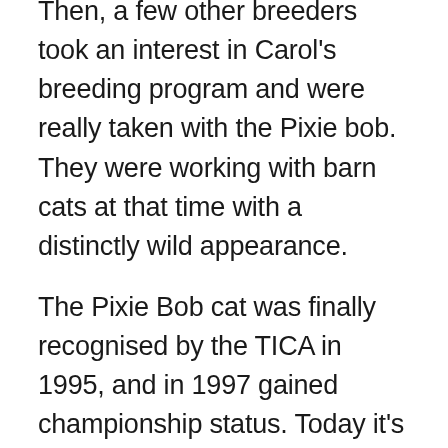Then, a few other breeders took an interest in Carol's breeding program and were really taken with the Pixie bob. They were working with barn cats at that time with a distinctly wild appearance.
The Pixie Bob cat was finally recognised by the TICA in 1995, and in 1997 gained championship status. Today it's become a popular breed in America, but fairly rare in Europe.
What Does A Pixie Bob Look